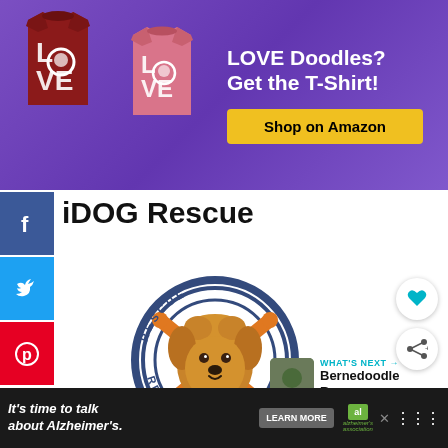[Figure (illustration): Advertisement banner with purple background. Left side shows a dark red t-shirt and a pink t-shirt both with 'LOVE' text and dog face designs. Right side shows text 'LOVE Doodles? Get the T-Shirt!' and a yellow 'Shop on Amazon' button.]
[Figure (logo): Social media sidebar icons: Facebook (blue), Twitter (cyan), Pinterest (red), each showing their respective icons.]
iDOG Rescue
[Figure (illustration): iDOG Rescue logo showing a cartoon golden doodle puppy centered in a circular badge with crossed orange bones and text reading 'RESCUE' and 'REHOME' around the circle.]
[Figure (illustration): Heart favorite button and share button on the right side of the page.]
[Figure (illustration): What's Next section showing a thumbnail image and text 'WHAT'S NEXT → Bernedoodle Rescue...']
[Figure (illustration): Bottom advertisement banner with dark background showing text "It's time to talk about Alzheimer's." with a LEARN MORE button and Alzheimer's Association logo.]